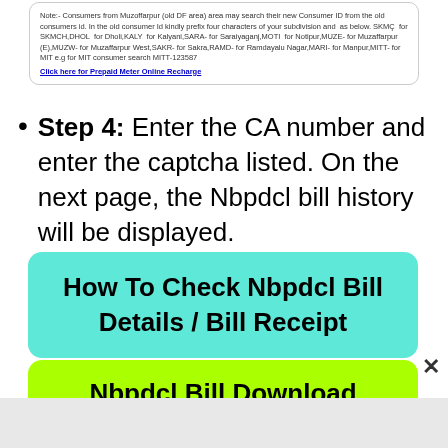Note:- Consumers from Muzoffarpur (old DF area) area may search their new Consumer ID from the old consumers id. In the old consumer Id kindly prefix four characters of your subdivision and  as below. SKMÇ  for SKMCH,DHOL  for Dholi,KALY  for Kalyani,SARA- for Saraiyaganj,MOTI  for Notipur,MUZE- for Muzaffarpur (E),MUZW- for Muzaffarpur West,SAKR- for Sakra,RAMD- for Ramdayalu Nagar,MARI- for Manpur,MITT- for MIT e.g for MIT consumer search MITT-123587
Click here for Prepaid Meter Online Recharge
Step 4: Enter the CA number and enter the captcha listed. On the next page, the Nbpdcl bill history will be displayed.
How To Check Nbpdcl Bill Details / Bill Receipt
Nbpdcl Bill Download